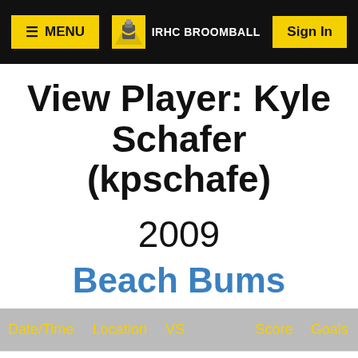≡ MENU   IRHC BROOMBALL   Sign In
View Player: Kyle Schafer (kpschafe)
2009
Beach Bums
| Date/Time | Location | VS | Score | Goals |
| --- | --- | --- | --- | --- |
| Thu, Jan 22 - 8:15 pm | Silver Rink | Raging Chickadees | (Win) 3 - 2 | 1 |